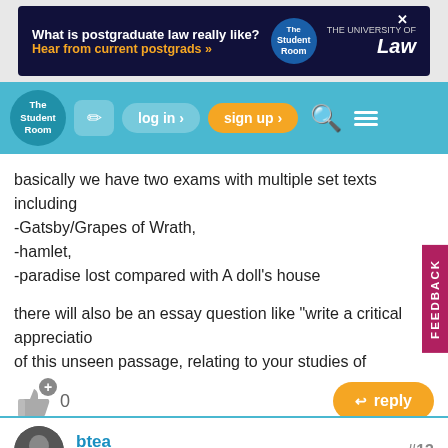[Figure (screenshot): Advertisement banner for The University of Law postgraduate law program on The Student Room website]
[Figure (screenshot): The Student Room navigation bar with logo, edit button, log in, sign up, search and menu buttons]
basically we have two exams with multiple set texts including -Gatsby/Grapes of Wrath, -hamlet, -paradise lost compared with A doll's house

there will also be an essay question like "write a critical appreciation of this unseen passage, relating to your studies of American Literature from 1880-1940." so we have to read loads of essays about american literature in history and its so vague and difficult 😢
[Figure (screenshot): Like button with +1 icon showing count 0, and orange reply button]
btea
Badges: 9 🛡 Rep: ████ ? #13